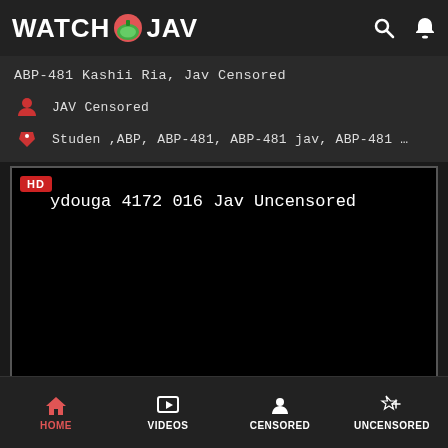WATCH JAV
ABP-481 Kashii Ria, Jav Censored
JAV Censored
Studen ,ABP, ABP-481, ABP-481 jav, ABP-481 …
[Figure (screenshot): Video player showing 'ydouga 4172 016 Jav Uncensored' with HD badge in top-left corner, black background]
HOME  VIDEOS  CENSORED  UNCENSORED